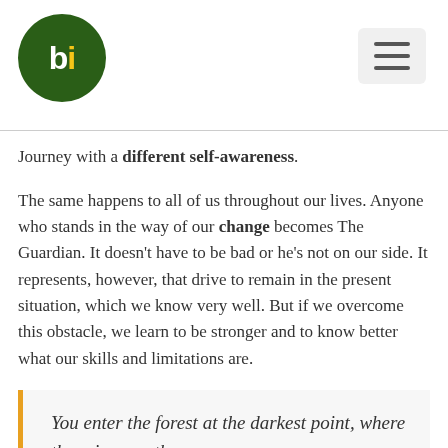bi logo and hamburger menu
Journey with a different self-awareness.
The same happens to all of us throughout our lives. Anyone who stands in the way of our change becomes The Guardian. It doesn't have to be bad or he's not on our side. It represents, however, that drive to remain in the present situation, which we know very well. But if we overcome this obstacle, we learn to be stronger and to know better what our skills and limitations are.
You enter the forest at the darkest point, where there is no path.
Where there is a way or path, it is someone